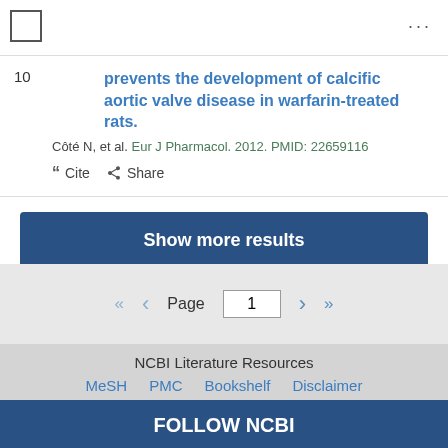10  prevents the development of calcific aortic valve disease in warfarin-treated rats.
Côté N, et al. Eur J Pharmacol. 2012. PMID: 22659116
Cite  Share
Show more results
Page 1
NCBI Literature Resources
MeSH  PMC  Bookshelf  Disclaimer
FOLLOW NCBI